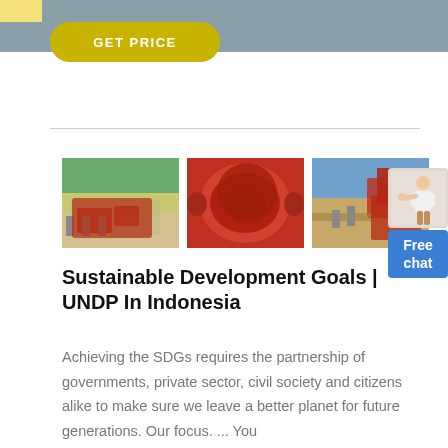GET PRICE
[Figure (photo): Three photos of mining and industrial equipment: outdoor red processing machinery, a red ball mill cylinder, and a red excavator at a work site.]
[Figure (illustration): Free chat widget with a woman figure pointing and a blue button labeled 'Free chat']
Sustainable Development Goals | UNDP In Indonesia
Achieving the SDGs requires the partnership of governments, private sector, civil society and citizens alike to make sure we leave a better planet for future generations. Our focus. ... You